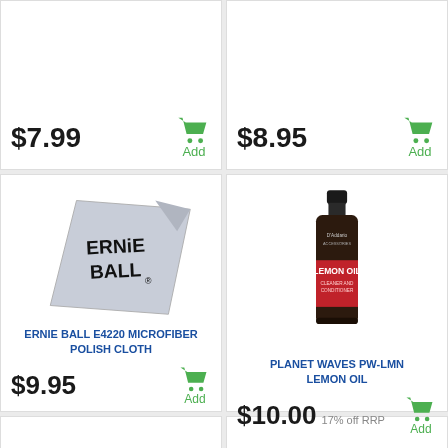$7.99
Add
$8.95
Add
[Figure (photo): Ernie Ball microfiber polishing cloth, light grey/blue, folded square with Ernie Ball logo printed in black]
ERNIE BALL E4220 MICROFIBER POLISH CLOTH
$9.95
Add
[Figure (photo): D'Addario Planet Waves Lemon Oil Cleaner and Conditioner bottle, dark brown/black with red label]
PLANET WAVES PW-LMN LEMON OIL
$10.00 17% off RRP
Add